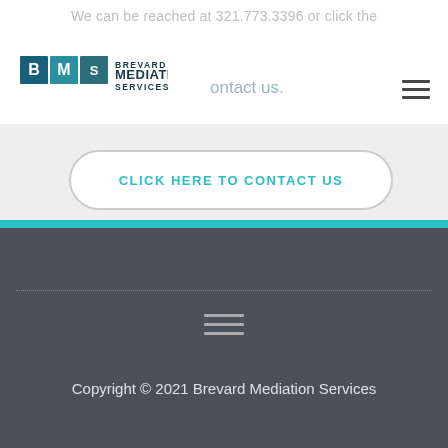We can be reached at 321.773.3396 or click the contact us.
[Figure (logo): Brevard Mediation Services logo with BMS initials in teal/dark blue tiles and text 'BREVARD MEDIATION SERVICES']
CLICK HERE TO CONTACT US
[Figure (other): Teal horizontal divider bar]
[Figure (other): Hamburger menu icon (three horizontal lines) in the footer dark section]
Copyright © 2021 Brevard Mediation Services